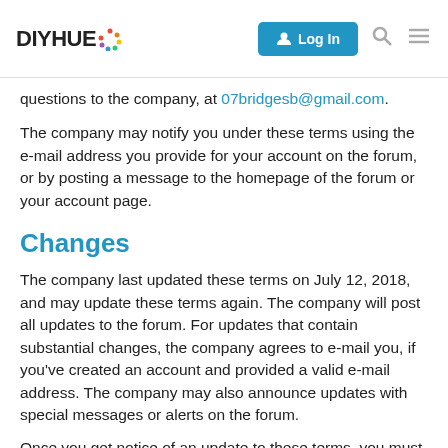DIYHUE [logo] Log In [search] [menu]
questions to the company, at 07bridgesb@gmail.com.
The company may notify you under these terms using the e-mail address you provide for your account on the forum, or by posting a message to the homepage of the forum or your account page.
Changes
The company last updated these terms on July 12, 2018, and may update these terms again. The company will post all updates to the forum. For updates that contain substantial changes, the company agrees to e-mail you, if you've created an account and provided a valid e-mail address. The company may also announce updates with special messages or alerts on the forum.
Once you get notice of an update to these terms, you must agree to the new terms in order to keep using the forum.